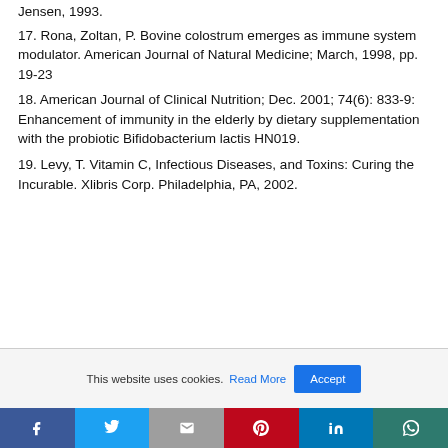Jensen, 1993.
17. Rona, Zoltan, P. Bovine colostrum emerges as immune system modulator. American Journal of Natural Medicine; March, 1998, pp. 19-23
18. American Journal of Clinical Nutrition; Dec. 2001; 74(6): 833-9: Enhancement of immunity in the elderly by dietary supplementation with the probiotic Bifidobacterium lactis HN019.
19. Levy, T. Vitamin C, Infectious Diseases, and Toxins: Curing the Incurable. Xlibris Corp. Philadelphia, PA, 2002.
This website uses cookies. Read More Accept
[Figure (other): Social media sharing buttons: Facebook, Twitter, Gmail, Pinterest, LinkedIn, WhatsApp]